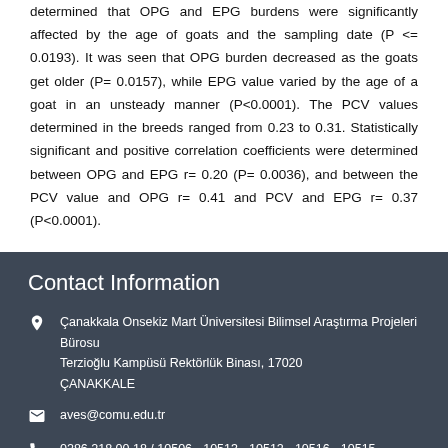determined that OPG and EPG burdens were significantly affected by the age of goats and the sampling date (P <= 0.0193). It was seen that OPG burden decreased as the goats get older (P= 0.0157), while EPG value varied by the age of a goat in an unsteady manner (P<0.0001). The PCV values determined in the breeds ranged from 0.23 to 0.31. Statistically significant and positive correlation coefficients were determined between OPG and EPG r= 0.20 (P= 0.0036), and between the PCV value and OPG r= 0.41 and PCV and EPG r= 0.37 (P<0.0001).
Contact Information
Çanakkala Onsekiz Mart Üniversitesi Bilimsel Araştırma Projeleri Bürosu
Terzioğlu Kampüsü Rektörlük Binası, 17020
ÇANAKKALE
aves@comu.edu.tr
0286 218 00 18 / 10506 - 10513 - 10512 - 10516 - 10515